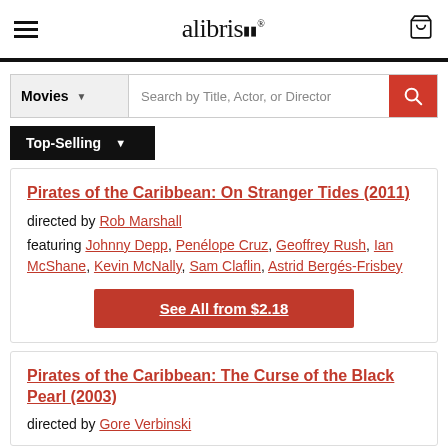alibris — Movies search page
Movies — Search by Title, Actor, or Director
Top-Selling
Pirates of the Caribbean: On Stranger Tides (2011)
directed by Rob Marshall
featuring Johnny Depp, Penélope Cruz, Geoffrey Rush, Ian McShane, Kevin McNally, Sam Claflin, Astrid Bergés-Frisbey
See All from $2.18
Pirates of the Caribbean: The Curse of the Black Pearl (2003)
directed by Gore Verbinski